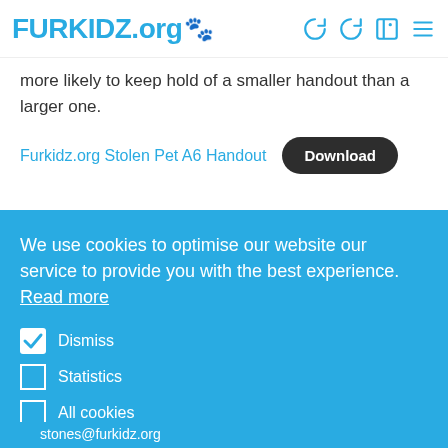FURKIDZ.org
more likely to keep hold of a smaller handout than a larger one.
Furkidz.org Stolen Pet A6 Handout  Download
We use cookies to optimise our website our service to provide you with the best experience. Read more
Dismiss
Statistics
All cookies
Save preferences
stones@furkidz.org